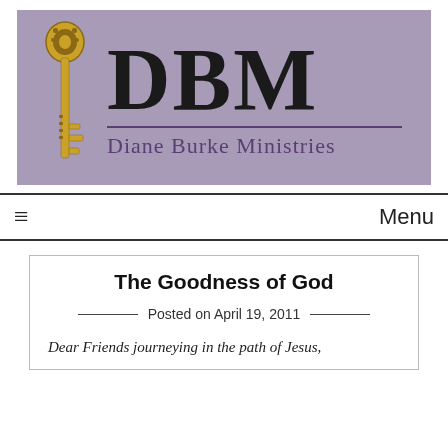[Figure (logo): Diane Burke Ministries logo with golden key icon and purple/mauve background. Large letters DBM with subtitle 'Diane Burke Ministries'.]
≡  Menu
The Goodness of God
Posted on April 19, 2011
Dear Friends journeying in the path of Jesus,